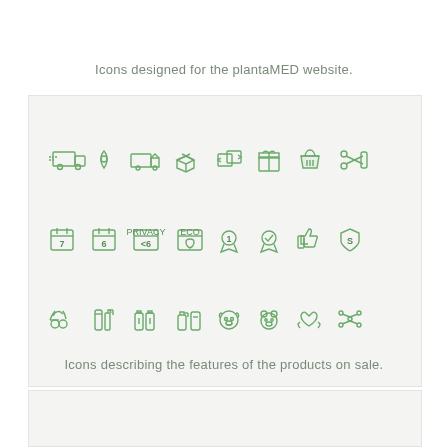Icons designed for the plantaMED website.
[Figure (illustration): A grid of 24 green line-art icons arranged in 3 rows of 8: Row 1: fast delivery truck, location pin, delivery truck, open box, return/exchange, gift box, shopping basket, scissors with paper. Row 2: calendar with 7, calendar with 6, calendar with <6 privacy label, eco/bio leaf certificate, rank 1 medal, verified checkmark medal, thumbs up, shield with S. Row 3: cherry/mushroom, cosmetic tube and spray, bottles row, spray bottle and container, dog face, bear face, hands holding heart, network/share icon.]
Icons describing the features of the products on sale.